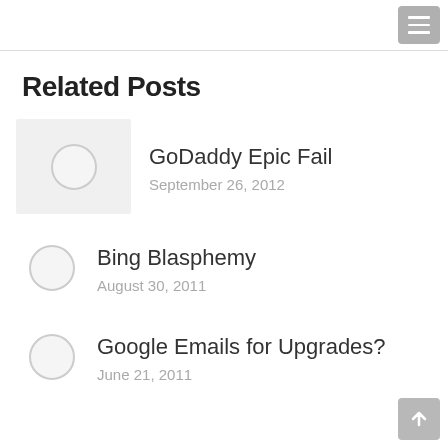SEO In A Box
Related Posts
GoDaddy Epic Fail
September 26, 2012
Bing Blasphemy
August 30, 2011
Google Emails for Upgrades?
June 21, 2011